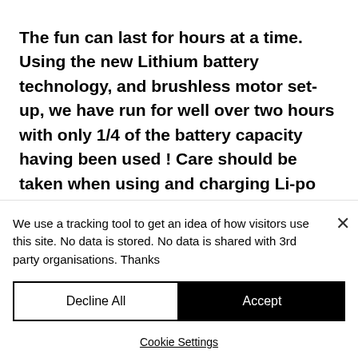The fun can last for hours at a time. Using the new Lithium battery technology, and brushless motor set-up, we have run for well over two hours with only 1/4 of the battery capacity having been used ! Care should be taken when using and charging Li-po cells, as they CANNOT be abused. Please
We use a tracking tool to get an idea of how visitors use this site. No data is stored. No data is shared with 3rd party organisations. Thanks
Decline All
Accept
Cookie Settings